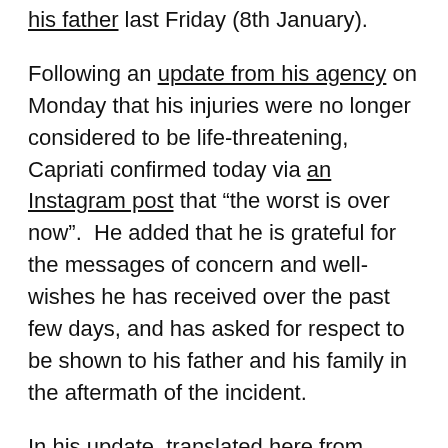his father last Friday (8th January).
Following an update from his agency on Monday that his injuries were no longer considered to be life-threatening, Capriati confirmed today via an Instagram post that “the worst is over now”.  He added that he is grateful for the messages of concern and well-wishes he has received over the past few days, and has asked for respect to be shown to his father and his family in the aftermath of the incident.
In his update, translated here from Italian via Google Translate, Capriati asked for “a little respect for my father and my family, since neither I nor any of you have the power and the duty to judge what happened”.
He continued: “I forgive my father for the crazy